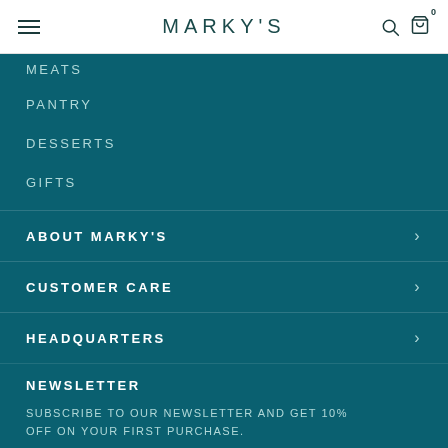MARKY'S
MEATS
PANTRY
DESSERTS
GIFTS
ABOUT MARKY'S
CUSTOMER CARE
HEADQUARTERS
NEWSLETTER
SUBSCRIBE TO OUR NEWSLETTER AND GET 10% OFF ON YOUR FIRST PURCHASE.